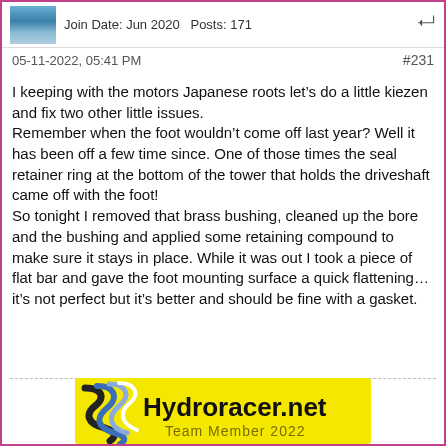Join Date: Jun 2020   Posts: 171
05-11-2022, 05:41 PM   #231
I keeping with the motors Japanese roots let’s do a little kiezen and fix two other little issues.
Remember when the foot wouldn’t come off last year? Well it has been off a few time since. One of those times the seal retainer ring at the bottom of the tower that holds the driveshaft came off with the foot!
So tonight I removed that brass bushing, cleaned up the bore and the bushing and applied some retaining compound to make sure it stays in place. While it was out I took a piece of flat bar and gave the foot mounting surface a quick flattening…it’s not perfect but it’s better and should be fine with a gasket.
[Figure (logo): Hydroracer.net Team Member 2022 yellow banner logo with wave design]